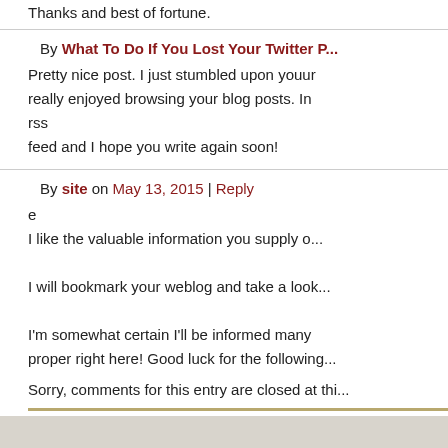Thanks and best of fortune.
By What To Do If You Lost Your Twitter P...
Pretty nice post. I just stumbled upon youur really enjoyed browsing your blog posts. In rss feed and I hope you write again soon!
By site on May 13, 2015 | Reply
e
I like the valuable information you supply o...

I will bookmark your weblog and take a look...

I'm somewhat certain I'll be informed many proper right here! Good luck for the following...
Sorry, comments for this entry are closed at thi...
« Fears and Phobias